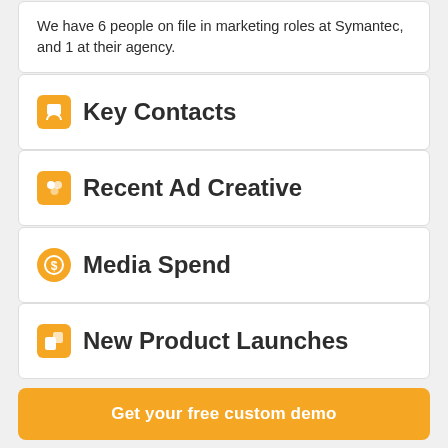We have 6 people on file in marketing roles at Symantec, and 1 at their agency.
Key Contacts
Recent Ad Creative
Media Spend
New Product Launches
Get your free custom demo